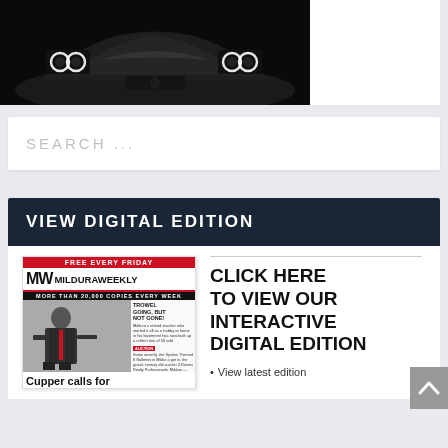[Figure (photo): Front view of a dark car with distinctive angel-eye headlights against a black background]
SEARCH ...
VIEW DIGITAL EDITION
[Figure (photo): Thumbnail of Mildura Weekly newspaper front page showing a man in a suit with red tie and headline 'Cupper calls for']
CLICK HERE TO VIEW OUR INTERACTIVE DIGITAL EDITION
View latest edition